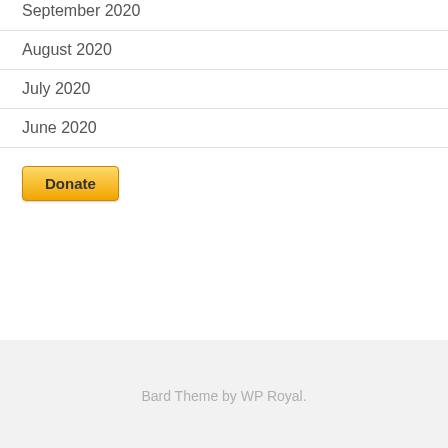September 2020
August 2020
July 2020
June 2020
[Figure (other): Donate button with orange/yellow gradient]
Bard Theme by WP Royal.